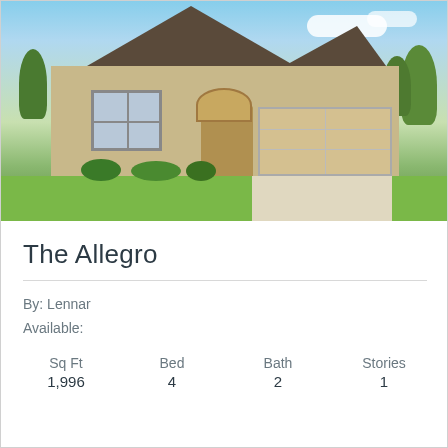[Figure (photo): Exterior rendering of a single-story brick home called The Allegro, with dark shingle roof, arched entry door, two-car garage, and green lawn with shrubs and trees in background.]
The Allegro
By: Lennar
Available:
| Sq Ft | Bed | Bath | Stories |
| --- | --- | --- | --- |
| 1,996 | 4 | 2 | 1 |